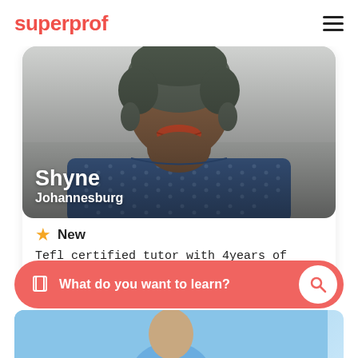superprof
[Figure (photo): Profile photo of tutor Shyne from Johannesburg - a woman wearing a blue dotted dress and wrapped head accessory, cropped below chin level]
Shyne
Johannesburg
★ New
Tefl certified tutor with 4years of experience. fit for all your needs
What do you want to learn?
[Figure (photo): Partial view of another tutor profile photo at the bottom of the screen]